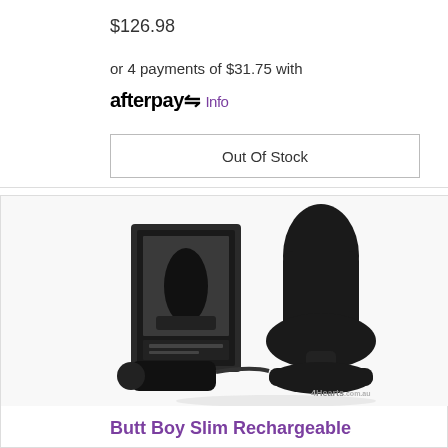$126.98
or 4 payments of $31.75 with afterpay Info
Out Of Stock
[Figure (photo): A black rechargeable butt plug product shown next to its black retail box packaging, on a white background. The product has a tapered silicone body with a flat base. Watermark reads '4Hearts.com.au'.]
Butt Boy Slim Rechargeable